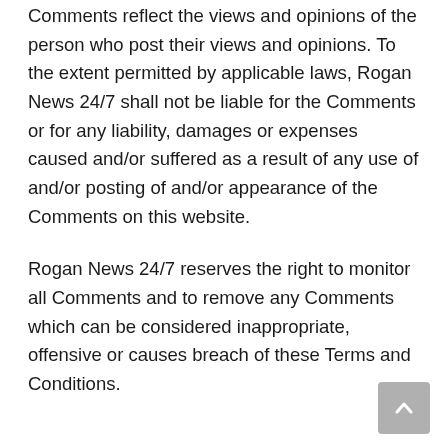Comments reflect the views and opinions of the person who post their views and opinions. To the extent permitted by applicable laws, Rogan News 24/7 shall not be liable for the Comments or for any liability, damages or expenses caused and/or suffered as a result of any use of and/or posting of and/or appearance of the Comments on this website.
Rogan News 24/7 reserves the right to monitor all Comments and to remove any Comments which can be considered inappropriate, offensive or causes breach of these Terms and Conditions.